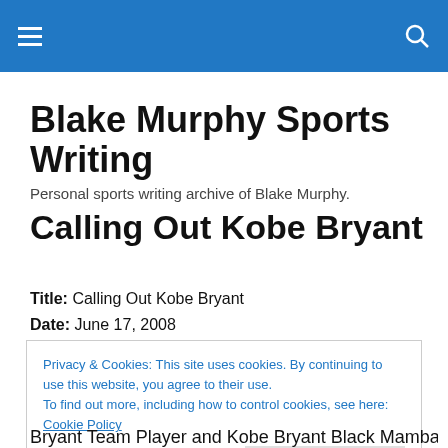Blake Murphy Sports Writing [navigation bar]
Blake Murphy Sports Writing
Personal sports writing archive of Blake Murphy.
Calling Out Kobe Bryant
Title: Calling Out Kobe Bryant
Date: June 17, 2008
Privacy & Cookies: This site uses cookies. By continuing to use this website, you agree to their use.
To find out more, including how to control cookies, see here: Cookie Policy
Bryant Team Player and Kobe Bryant Black Mamba fight